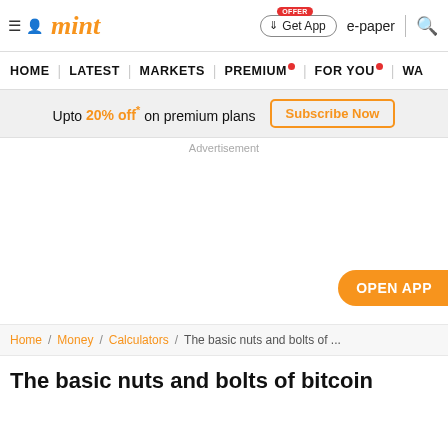mint — Get App | e-paper | search
HOME | LATEST | MARKETS | PREMIUM | FOR YOU | WA...
Upto 20% off* on premium plans  Subscribe Now
Advertisement
[Figure (other): Advertisement area with OPEN APP button]
Home / Money / Calculators / The basic nuts and bolts of ...
The basic nuts and bolts of bitcoin